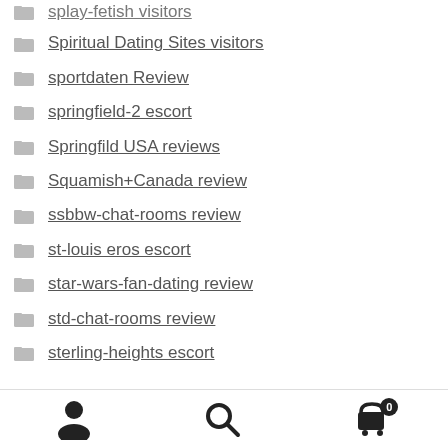splay-fetish visitors
Spiritual Dating Sites visitors
sportdaten Review
springfield-2 escort
Springfild USA reviews
Squamish+Canada review
ssbbw-chat-rooms review
st-louis eros escort
star-wars-fan-dating review
std-chat-rooms review
sterling-heights escort
user account | search | cart (0)